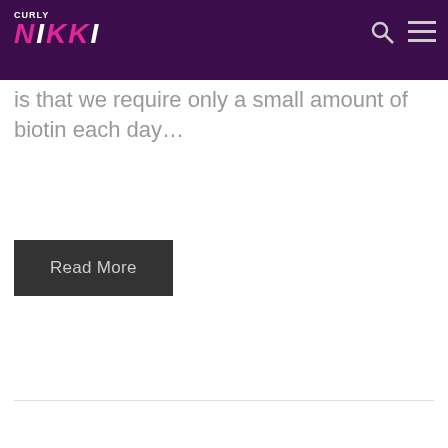CURLY NIKKI
is that we require only a small amount of biotin each day…
Read More